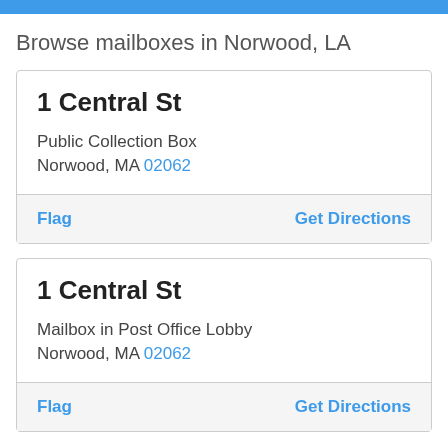Browse mailboxes in Norwood, LA
1 Central St
Public Collection Box
Norwood, MA 02062
Flag | Get Directions
1 Central St
Mailbox in Post Office Lobby
Norwood, MA 02062
Flag | Get Directions